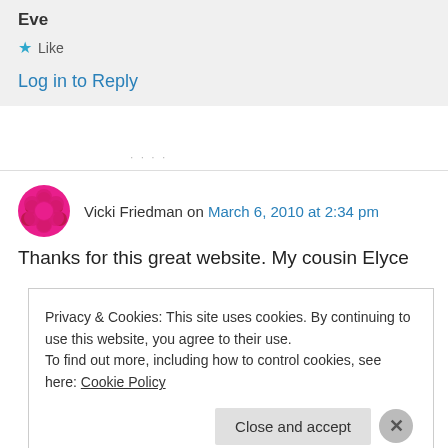Eve
★ Like
Log in to Reply
Vicki Friedman on March 6, 2010 at 2:34 pm
Thanks for this great website. My cousin Elyce
Privacy & Cookies: This site uses cookies. By continuing to use this website, you agree to their use.
To find out more, including how to control cookies, see here: Cookie Policy
Close and accept
[Figure (other): Red advertisement bar at bottom with text 'Search, browse, and email' and an icon]